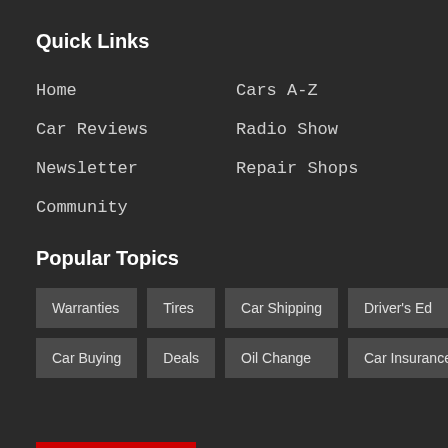Quick Links
Home
Cars A-Z
Car Reviews
Radio Show
Newsletter
Repair Shops
Community
Popular Topics
Warranties
Tires
Car Shipping
Driver's Ed
Car Buying
Deals
Oil Change
Car Insurance